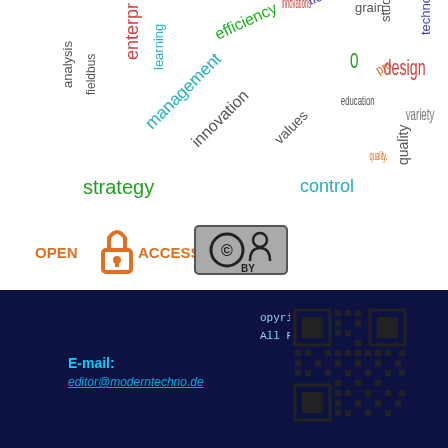[Figure (infographic): Word cloud with terms: analysis, fieldbus, enterprise, learning, efficiency, grain, tion, techno, pro, education, innovations, stud, management, innovation, values, quality, energy, 0, design, tom, monitoring, strategy, control, hybrid, variety, methods, quality]
[Figure (logo): Open Access logo (orange) and Creative Commons BY badge]
opyright © 2018 SWorld
All Rights Reserved.
E-mail:
editor@moderntechno.de
[Figure (other): QR code]